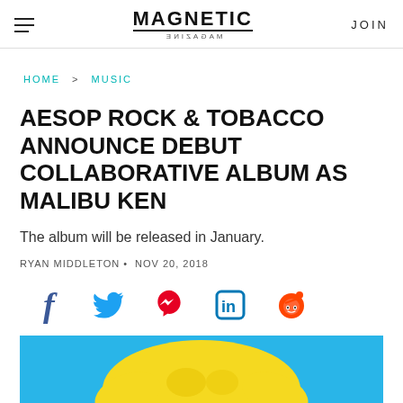MAGNETIC MAGAZINE | JOIN
HOME > MUSIC
AESOP ROCK & TOBACCO ANNOUNCE DEBUT COLLABORATIVE ALBUM AS MALIBU KEN
The album will be released in January.
RYAN MIDDLETON • NOV 20, 2018
[Figure (other): Social share icons row: Facebook, Twitter, Pinterest, LinkedIn, Reddit]
[Figure (illustration): Bottom portion of colorful comic-style illustration with yellow and blue colors, partially cropped]